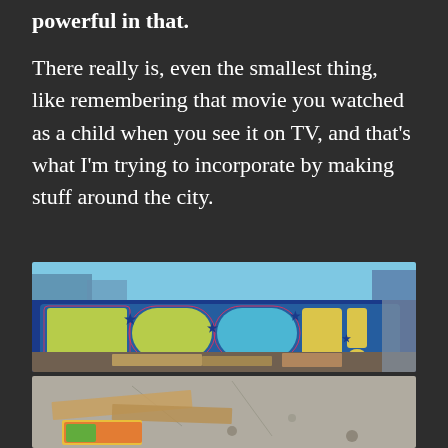powerful in that.
There really is, even the smallest thing, like remembering that movie you watched as a child when you see it on TV, and that’s what I’m trying to incorporate by making stuff around the city.
[Figure (photo): A colorful graffiti mural on a wall reading 'FOCI' or similar large letters in yellow-green with blue, orange, red, and pink outlines, with stars and other decorative elements. Debris and cardboard boxes litter the foreground ground area.]
[Figure (photo): A ground-level view showing cardboard and painted items on a concrete surface with graffiti art visible, appearing to be another mural or streetart piece in bright colors.]